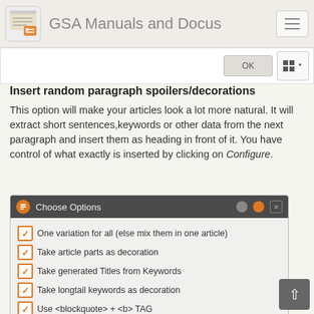GSA Manuals and Docus
Insert random paragraph spoilers/decorations
This option will make your articles look a lot more natural. It will extract short sentences,keywords or other data from the next paragraph and insert them as heading in front of it. You have control of what exactly is inserted by clicking on Configure.
[Figure (screenshot): A dialog box titled 'Choose Options' with a dark gray title bar showing an orange icon, and checkboxes for: One variation for all (else mix them in one article), Take article parts as decoration, Take generated Titles from Keywords, Take longtail keywords as decoration, Use <blockquote> + <b> TAG, Use <blockquote> + <strong> TAG, Use <blockquote> TAG]